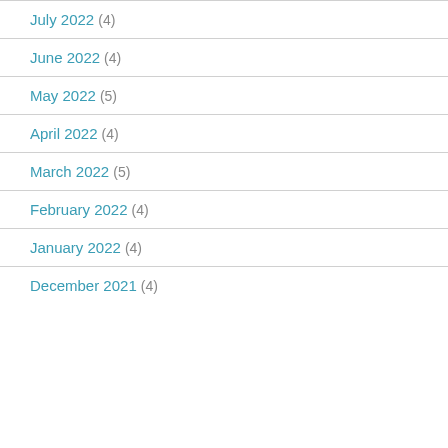July 2022 (4)
June 2022 (4)
May 2022 (5)
April 2022 (4)
March 2022 (5)
February 2022 (4)
January 2022 (4)
December 2021 (4)